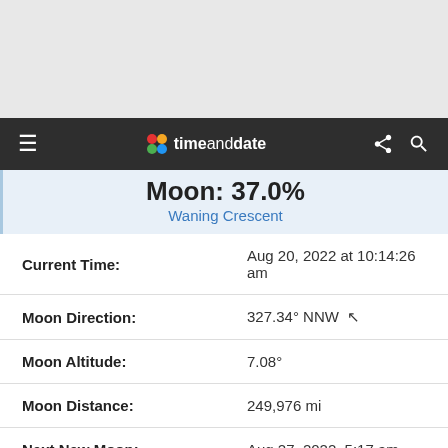[Figure (screenshot): Top gray area (advertisement/blank space)]
timeanddate — navigation bar with hamburger menu, logo, share and search icons
Moon: 37.0%
Waning Crescent
| Label | Value |
| --- | --- |
| Current Time: | Aug 20, 2022 at 10:14:26 am |
| Moon Direction: | 327.34° NNW ↖ |
| Moon Altitude: | 7.08° |
| Moon Distance: | 249,976 mi |
| Next New Moon: | Aug 27, 2022, 5:17 am |
| Next Full Moon: | Sep 10, 2022, 6:59 am |
| Next Moonset: | Today, 11:32 am |